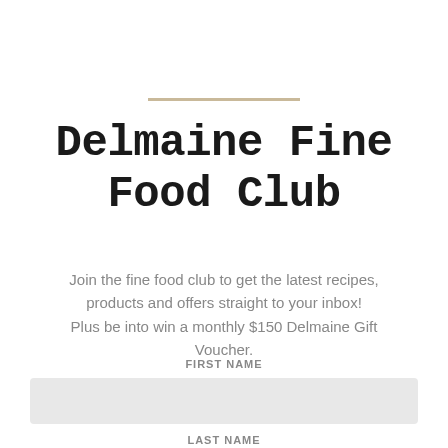Delmaine Fine Food Club
Join the fine food club to get the latest recipes, products and offers straight to your inbox! Plus be into win a monthly $150 Delmaine Gift Voucher.
FIRST NAME
LAST NAME